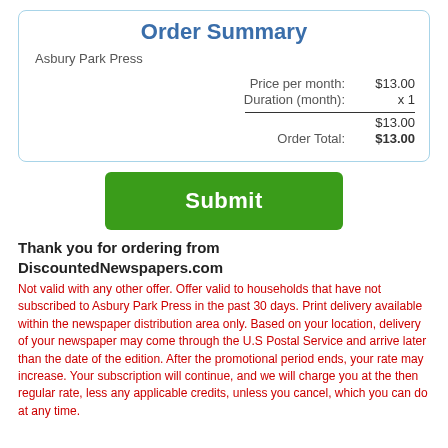Order Summary
Asbury Park Press
| Price per month: | $13.00 |
| Duration (month): | x 1 |
|  | $13.00 |
| Order Total: | $13.00 |
[Figure (other): Green Submit button]
Thank you for ordering from DiscountedNewspapers.com
Not valid with any other offer. Offer valid to households that have not subscribed to Asbury Park Press in the past 30 days. Print delivery available within the newspaper distribution area only. Based on your location, delivery of your newspaper may come through the U.S Postal Service and arrive later than the date of the edition. After the promotional period ends, your rate may increase. Your subscription will continue, and we will charge you at the then regular rate, less any applicable credits, unless you cancel, which you can do at any time.